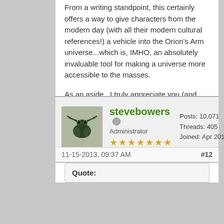From a writing standpoint, this certainly offers a way to give characters from the modern day (with all their modern cultural references!) a vehicle into the Orion's Arm universe...which is, IMHO, an absolutely invaluable tool for making a universe more accessible to the masses.
As an aside...I truly appreciate you (and Steve) taking the time to even have this conversation. Humbled by it...honestly.
stevebowers  Administrator  ★★★★★★★  Posts: 10,071  Threads: 405  Joined: Apr 2013
11-15-2013, 09:37 AM  #12
Quote: